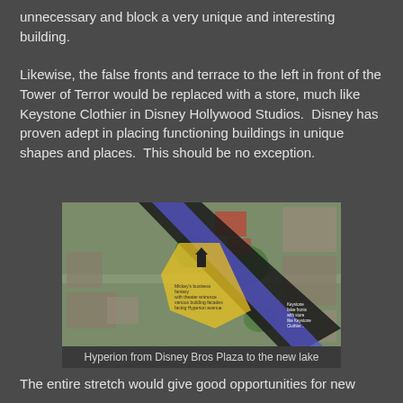unnecessary and block a very unique and interesting building.
Likewise, the false fronts and terrace to the left in front of the Tower of Terror would be replaced with a store, much like Keystone Clothier in Disney Hollywood Studios.  Disney has proven adept in placing functioning buildings in unique shapes and places.  This should be no exception.
[Figure (map): Aerial satellite view of a Disney park area with a blue diagonal overlay representing the Hyperion path from Disney Bros Plaza to a new lake, and a yellow overlay showing Mickey's business fantasy area. Annotations are overlaid on the image.]
Hyperion from Disney Bros Plaza to the new lake
The entire stretch would give good opportunities for new